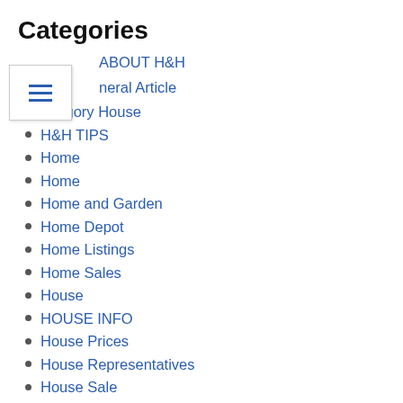Categories
ABOUT H&H
General Article
Gregory House
H&H TIPS
Home
Home
Home and Garden
Home Depot
Home Listings
Home Sales
House
HOUSE INFO
House Prices
House Representatives
House Sale
House Search